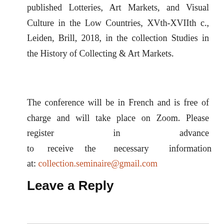published Lotteries, Art Markets, and Visual Culture in the Low Countries, XVth-XVIIth c., Leiden, Brill, 2018, in the collection Studies in the History of Collecting & Art Markets.
The conference will be in French and is free of charge and will take place on Zoom. Please register in advance to receive the necessary information at: collection.seminaire@gmail.com
Leave a Reply